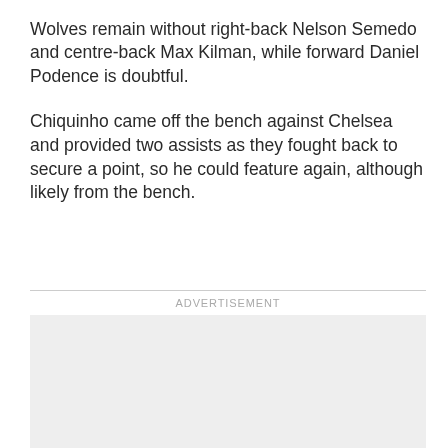Wolves remain without right-back Nelson Semedo and centre-back Max Kilman, while forward Daniel Podence is doubtful.
Chiquinho came off the bench against Chelsea and provided two assists as they fought back to secure a point, so he could feature again, although likely from the bench.
[Figure (other): Advertisement placeholder box (grey rectangle)]